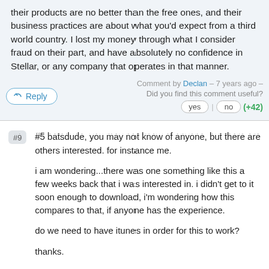their products are no better than the free ones, and their business practices are about what you'd expect from a third world country. I lost my money through what I consider fraud on their part, and have absolutely no confidence in Stellar, or any company that operates in that manner.
Comment by Declan – 7 years ago – Did you find this comment useful?
yes | no (+42)
#5 batsdude, you may not know of anyone, but there are others interested. for instance me.

i am wondering...there was one something like this a few weeks back that i was interested in. i didn't get to it soon enough to download, i'm wondering how this compares to that, if anyone has the experience.

do we need to have itunes in order for this to work?

thanks.